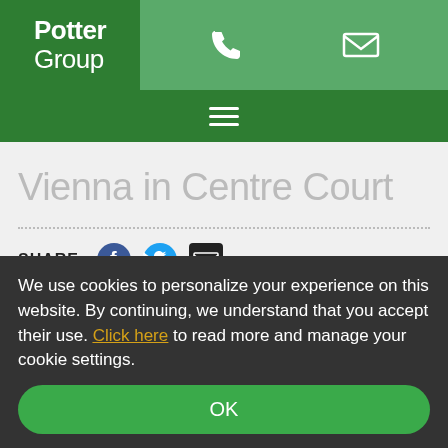Potter Group
Vienna in Centre Court
SHARE:
We use cookies to personalize your experience on this website. By continuing, we understand that you accept their use. Click here to read more and manage your cookie settings.
OK